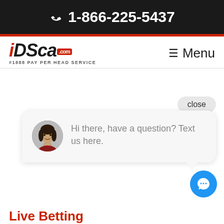📞 1-866-225-5437
[Figure (logo): iDSca.com logo with tagline #1888 PAY PER HEAD SERVICE]
≡ Menu
close
Hi there, have a question? Text us here.
Live Betting
Boost your profits by offering accurate official live betting lines and wagering options.